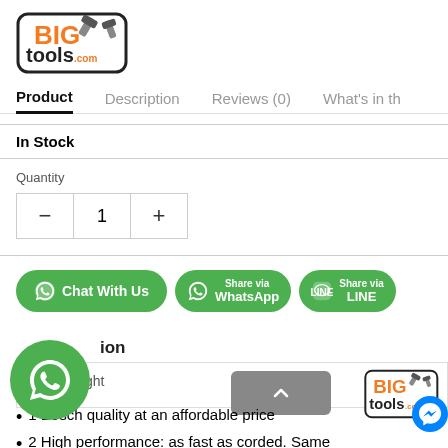[Figure (logo): BIG tools X .com logo with orange text and hammer icons]
Product | Description | Reviews (0) | What's in th
In Stock
Quantity
- 1 +
[Figure (infographic): Green buttons: Chat With Us (WhatsApp icon), Share via WhatsApp (WhatsApp icon), Share via LINE (LINE icon)]
[Figure (infographic): Floating green WhatsApp circle icon]
ion
☀ Highlight
1 Bosch quality at an affordable price
2 High performance: as fast as corded. Same
[Figure (logo): BIG tools X .com logo bottom right watermark]